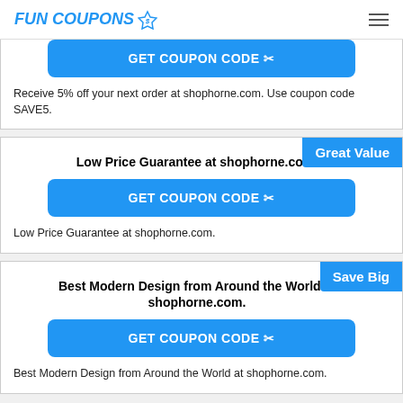FUN COUPONS
Receive 5% off your next order at shophorne.com. Use coupon code SAVE5.
Low Price Guarantee at shophorne.com.
GET COUPON CODE
Low Price Guarantee at shophorne.com.
Best Modern Design from Around the World at shophorne.com.
GET COUPON CODE
Best Modern Design from Around the World at shophorne.com.